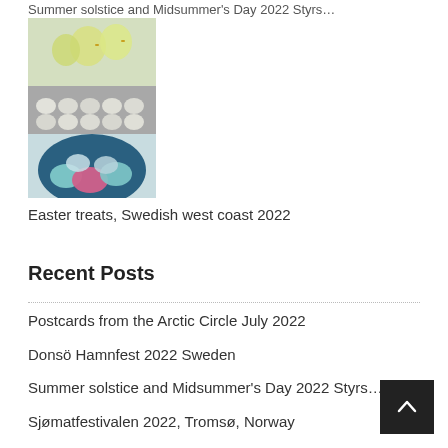Summer solstice and Midsummer's Day 2022 Styrs…
[Figure (photo): Photo of Easter treats including colored eggs (pink, blue/teal) in a bowl and yellow chicks, Swedish west coast 2022]
Easter treats, Swedish west coast 2022
Recent Posts
Postcards from the Arctic Circle July 2022
Donsö Hamnfest 2022 Sweden
Summer solstice and Midsummer's Day 2022 Styrs…
Sjømatfestivalen 2022, Tromsø, Norway
Flickorna på Färjenäs, Karl IX:s Göteborg